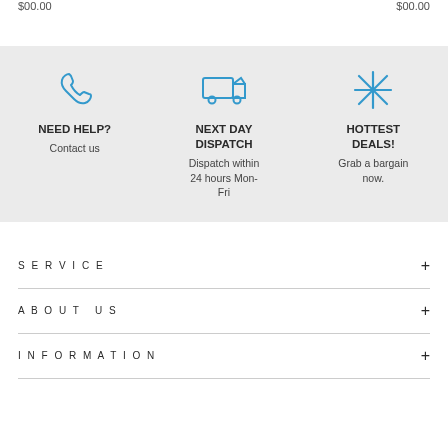$00.00  $00.00
[Figure (infographic): Three-column promotional section on grey background: phone icon with 'NEED HELP? Contact us', truck icon with 'NEXT DAY DISPATCH Dispatch within 24 hours Mon-Fri', asterisk icon with 'HOTTEST DEALS! Grab a bargain now.']
SERVICE
ABOUT US
INFORMATION